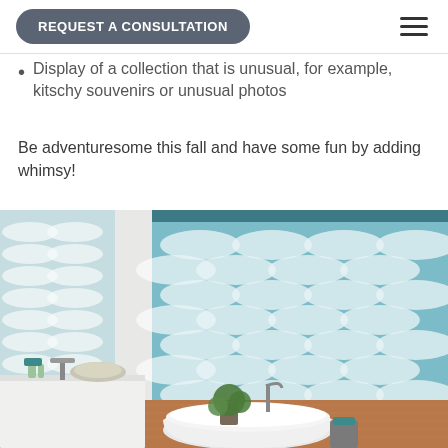REQUEST A CONSULTATION
Display of a collection that is unusual, for example, kitschy souvenirs or unusual photos
Be adventuresome this fall and have some fun by adding whimsy!
[Figure (photo): Bathroom interior with a freestanding white bathtub, green plant, and teal/blue patterned roller shades on the windows]